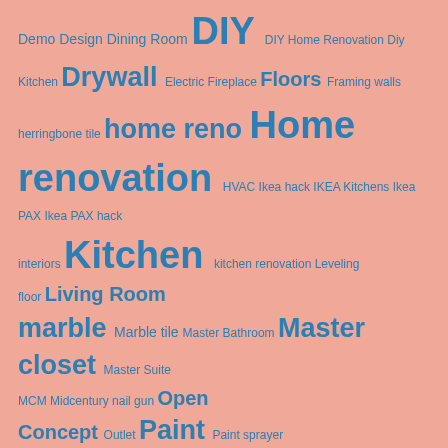[Figure (other): Tag cloud on salmon/pink background with home renovation related terms in various font sizes in blue/teal color. Larger tags: Home renovation, Kitchen, DIY, Drywall, Floors, Master closet, Paint, Semihandmade, Semihandmadedoors, Restoring trim, Tiles wall, marble. Medium tags: home reno, Living Room, Marble tile, Open Concept, Plaster, Staircase. Small tags: Demo Design, Dining Room, DIY Home Renovation, Electric Fireplace, Framing walls, herringbone tile, HVAC, Ikea hack, IKEA Kitchens, Ikea PAX, Ikea PAX hack, interiors, kitchen renovation, Leveling floor, Master Bathroom, Master Suite, MCM, Midcentury, nail gun, Outlet, Paint sprayer, Plywood, Radiator removal, Radiators, Range hood, Renovation Loan, Roof, Semihandmade Doors, Stain, steps, Strategic planning, Stripping, Wall Removal, window trim, zline]